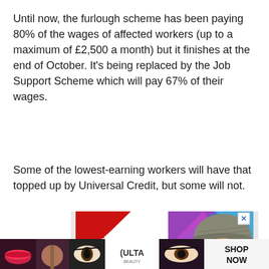Until now, the furlough scheme has been paying 80% of the wages of affected workers (up to a maximum of £2,500 a month) but it finishes at the end of October. It's being replaced by the Job Support Scheme which will pay 67% of their wages.
Some of the lowest-earning workers will have that topped up by Universal Credit, but some will not.
[Figure (screenshot): Advertisement showing 'BID TO WIN!' red diagonal banner, text 'ZOOM w/ BEST-SELLING AUTHOR ALAN' on left panel, and a man wearing a knit hat and glasses on a colorful geometric background on right panel. Has an X close button.]
[Figure (screenshot): Bottom banner advertisement for ULTA Beauty showing beauty/makeup images and a 'SHOP NOW' button.]